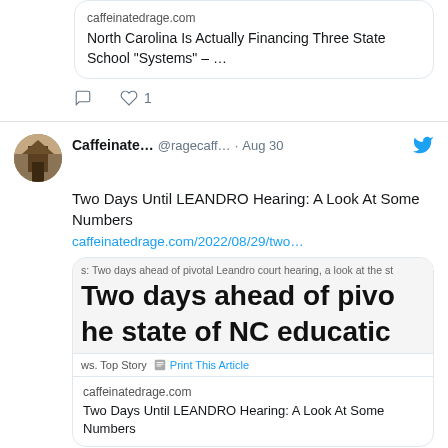[Figure (screenshot): Link card with domain caffeinatedrage.com and title 'North Carolina Is Actually Financing Three State School "Systems" – ...']
[Figure (screenshot): Tweet action icons: comment and heart with count 1]
[Figure (screenshot): Twitter/X post by Caffeinate... @ragecaff... Aug 30 with tweet bird icon, text 'Two Days Until LEANDRO Hearing: A Look At Some Numbers', link caffeinatedrage.com/2022/08/29/two..., and embedded article preview showing headline 'Two days ahead of pivo... he state of NC educati...' with tags 'ws. Top Story' and 'Print This Article', plus bottom link card with domain caffeinatedrage.com and title 'Two Days Until LEANDRO Hearing: A Look At Some Numbers']